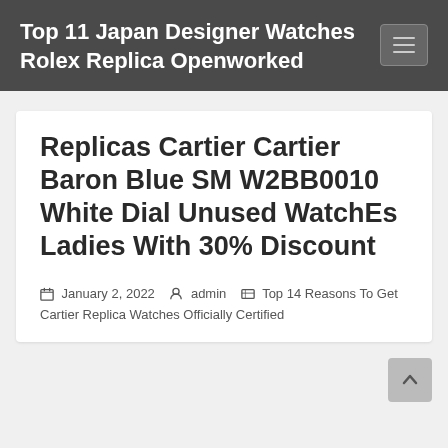Top 11 Japan Designer Watches Rolex Replica Openworked
Replicas Cartier Cartier Baron Blue SM W2BB0010 White Dial Unused WatchEs Ladies With 30% Discount
January 2, 2022   admin   Top 14 Reasons To Get Cartier Replica Watches Officially Certified